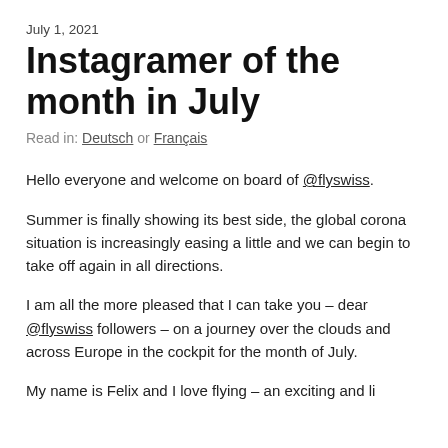July 1, 2021
Instagramer of the month in July
Read in: Deutsch or Français
Hello everyone and welcome on board of @flyswiss.
Summer is finally showing its best side, the global corona situation is increasingly easing a little and we can begin to take off again in all directions.
I am all the more pleased that I can take you – dear @flyswiss followers – on a journey over the clouds and across Europe in the cockpit for the month of July.
My name is Felix and I love flying – an exciting and li…